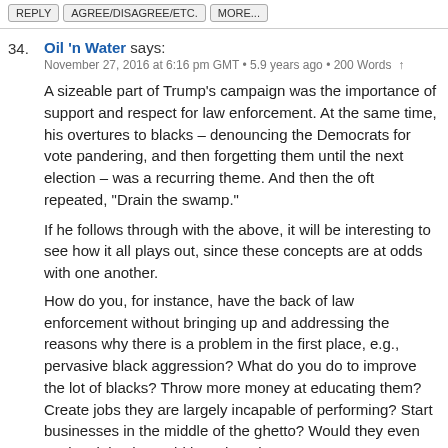REPLY | AGREE/DISAGREE/ETC. | MORE...
34. Oil 'n Water says:
November 27, 2016 at 6:16 pm GMT • 5.9 years ago • 200 Words ↑

A sizeable part of Trump's campaign was the importance of support and respect for law enforcement. At the same time, his overtures to blacks – denouncing the Democrats for vote pandering, and then forgetting them until the next election – was a recurring theme. And then the oft repeated, "Drain the swamp."
If he follows through with the above, it will be interesting to see how it all plays out, since these concepts are at odds with one another.
How do you, for instance, have the back of law enforcement without bringing up and addressing the reasons why there is a problem in the first place, e.g., pervasive black aggression? What do you do to improve the lot of blacks? Throw more money at educating them? Create jobs they are largely incapable of performing? Start businesses in the middle of the ghetto? Would they even work at jobs that paid less than they